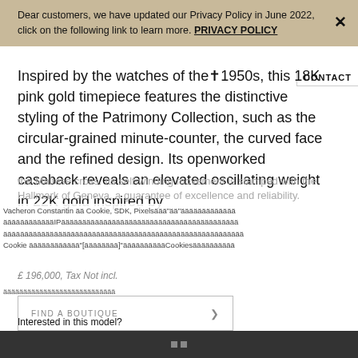Dear customers, we have updated our Privacy Policy in June 2022, click on the following link to learn more. PRIVACY POLICY
Inspired by the watches of the 1950s, this 18K pink gold timepiece features the distinctive styling of the Patrimony Collection, such as the circular-grained minute-counter, the curved face and the refined design. Its openworked caseback reveals an elevated oscillating weight in 22K gold inspired by the Maltese cross. Its self-winding movement is stamped with the Hallmark of Geneva, a guarantee of excellence and reliability.
Vacheron Constantin [cookie/tracking text overlay]
Cookie [encoded text] Cookies [encoded text]
£ 196,000, Tax Not incl.
FIND A BOUTIQUE
Interested in this model?